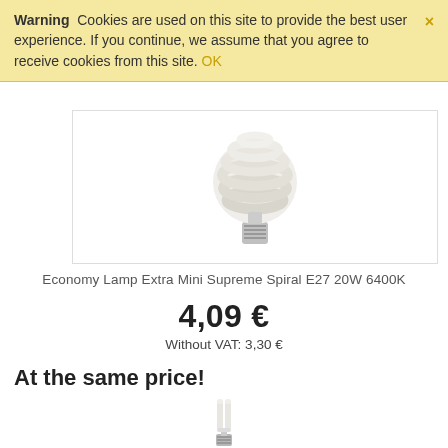Warning  Cookies are used on this site to provide the best user experience. If you continue, we assume that you agree to receive cookies from this site. OK
[Figure (photo): A compact fluorescent spiral energy-saving light bulb with E27 base, white spiral tube, shown against white background inside a bordered box.]
Economy Lamp Extra Mini Supreme Spiral E27 20W 6400K
4,09 €
Without VAT: 3,30 €
At the same price!
[Figure (photo): A compact fluorescent U-tube energy-saving light bulb with E27 base, shown against white background.]